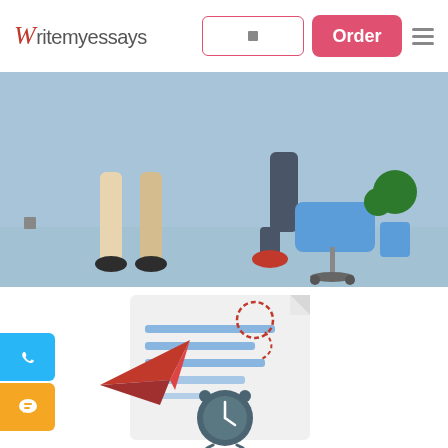Writemyessays — Order
[Figure (illustration): Website screenshot of writemyessays.com showing navbar with logo 'Writemyessays', search input, Order button, and hamburger menu. Below is a hero banner with light blue background showing illustrated figures with legs, an office chair, and a plant. Below the banner is a white section with an illustration of a document with blue lines, a paper plane, an alarm clock, and a dashed circle annotation. Two floating buttons on the left: WhatsApp (blue) and chat (orange).]